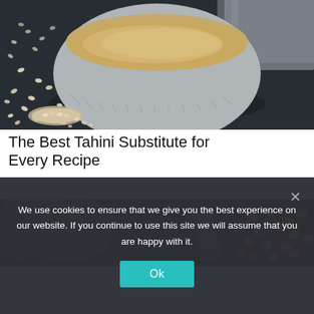[Figure (photo): A white ceramic bowl filled with tahini (sesame paste) surrounded by sesame seeds and a spoon on a dark slate surface with a gray cloth in the background.]
The Best Tahini Substitute for Every Recipe
[Figure (photo): Fresh green herbs (cilantro/parsley) and nuts on a wooden surface, close-up food photography with dark background.]
We use cookies to ensure that we give you the best experience on our website. If you continue to use this site we will assume that you are happy with it.
Ok